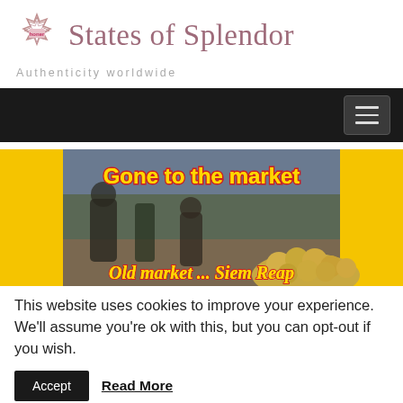[Figure (logo): Star-burst logo icon for States of Splendor website, pink/mauve color]
States of Splendor
Authenticity worldwide
[Figure (screenshot): Dark navigation bar with hamburger menu icon on the right]
[Figure (photo): Market scene photo with yellow background and colorful text overlay reading 'Gone to the market' at top and 'Old market... Siem Reap' at bottom]
This website uses cookies to improve your experience. We'll assume you're ok with this, but you can opt-out if you wish.
Accept
Read More